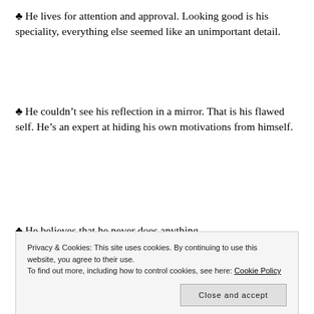♣ He lives for attention and approval. Looking good is his speciality, everything else seemed like an unimportant detail.
♣ He couldn't see his reflection in a mirror. That is his flawed self. He's an expert at hiding his own motivations from himself.
♣ He believes that he never does anything
Privacy & Cookies: This site uses cookies. By continuing to use this website, you agree to their use. To find out more, including how to control cookies, see here: Cookie Policy
♣ immaturity is his shield and innocence the